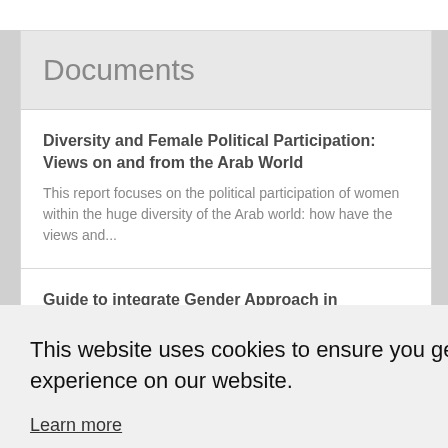Documents
Diversity and Female Political Participation: Views on and from the Arab World
This report focuses on the political participation of women within the huge diversity of the Arab world: how have the views and...
Guide to integrate Gender Approach in organisations
Gender inequalities persist. Associations are not exempt from this
This website uses cookies to ensure you get the best experience on our website.
Learn more
Accept